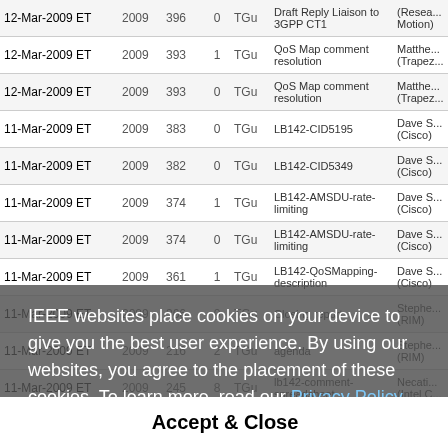| Date | Year | Doc | Rev | Group | Title | Author |
| --- | --- | --- | --- | --- | --- | --- |
| 12-Mar-2009 ET | 2009 | 396 | 0 | TGu | Draft Reply Liaison to 3GPP CT1 | (Resea... Motion) |
| 12-Mar-2009 ET | 2009 | 393 | 1 | TGu | QoS Map comment resolution | Matthe... (Trapez... |
| 12-Mar-2009 ET | 2009 | 393 | 0 | TGu | QoS Map comment resolution | Matthe... (Trapez... |
| 11-Mar-2009 ET | 2009 | 383 | 0 | TGu | LB142-CID5195 | Dave S... (Cisco) |
| 11-Mar-2009 ET | 2009 | 382 | 0 | TGu | LB142-CID5349 | Dave S... (Cisco) |
| 11-Mar-2009 ET | 2009 | 374 | 1 | TGu | LB142-AMSDU-rate-limiting | Dave S... (Cisco) |
| 11-Mar-2009 ET | 2009 | 374 | 0 | TGu | LB142-AMSDU-rate-limiting | Dave S... (Cisco) |
| 11-Mar-2009 ET | 2009 | 361 | 1 | TGu | LB142-QoSMapping-description | Dave S... (Cisco) |
| 11-Mar-2009 ET | 2009 | 366 | 0 | TGu | Closing report | Stephe... (RIM) |
| 11-Mar-2009 ET | 2009 | 216 | 2 | TGu | agenda | Stephe... (RIM) |
| 11-Mar-2009 ET | 2009 | 245 | 8 | TGu | lb142-comment-spreadsheet | Necati... (Intel C... |
| 10-Mar-2009 ET | 2009 | 275 | 2 | TGu | Date and Time configuration | Gabor E... |
| 10-Mar-2009 ET | 2009 | 245 | 7 | TGu | lb142-comment-spreadsheet | Dave S... (Cisco) |
| 10-Mar-2009 ET | 2009 | 275 | 1 | TGu | Date and Time configuration | Gabor E... |
| 10-Mar-2009 ET | 2009 | 361 | 0 | TGu | LB142-QoSMapping-description | Dave S... (Cisco) |
| 10-Mar-2009 ET | 2009 | 360 | 0 | TGu | Network-Usage-codes | Dave S... (Cisco) |
IEEE websites place cookies on your device to give you the best user experience. By using our websites, you agree to the placement of these cookies. To learn more, read our Privacy Policy.
Accept & Close